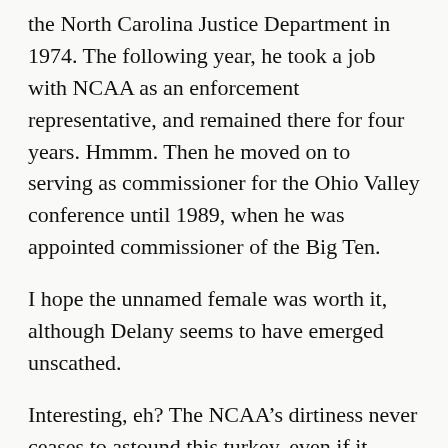the North Carolina Justice Department in 1974. The following year, he took a job with NCAA as an enforcement representative, and remained there for four years. Hmmm. Then he moved on to serving as commissioner for the Ohio Valley conference until 1989, when he was appointed commissioner of the Big Ten.
I hope the unnamed female was worth it, although Delany seems to have emerged unscathed.
Interesting, eh? The NCAA’s dirtiness never ceases to astound this turkey, even if it resurfaces from 35 years ago!
******
But wait! There’s more! Robert Wheel of SB*Nation